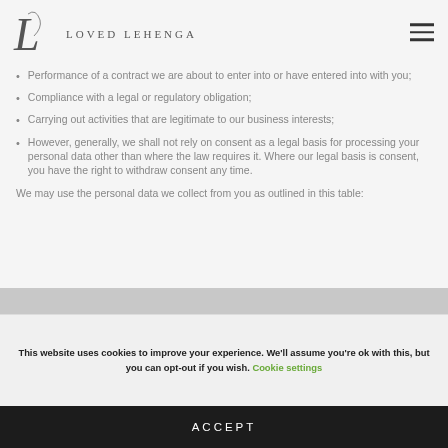LOVED LEHENGA
Performance of a contract we are about to enter into or have entered into with you;
Compliance with a legal or regulatory obligation;
Carrying out activities that are legitimate to our business interests;
However, generally, we shall not rely on consent as a legal basis for processing your personal data other than where the law requires it. Where our legal basis is consent, you have the right to withdraw consent any time.
We may use the personal data we collect from you as outlined in this table:
This website uses cookies to improve your experience. We'll assume you're ok with this, but you can opt-out if you wish. Cookie settings
ACCEPT